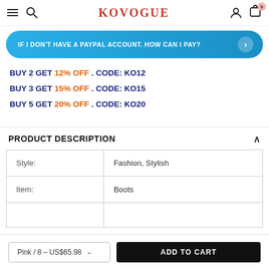KOVOGUE
[Figure (other): Blue pill-shaped button: IF I DON'T HAVE A PAYPAL ACCOUNT. HOW CAN I PAY? with arrow]
BUY 2 GET 12% OFF . CODE: KO12
BUY 3 GET 15% OFF . CODE: KO15
BUY 5 GET 20% OFF . CODE: KO20
PRODUCT DESCRIPTION
| Style: | Fashion, Stylish |
| Item: | Boots |
|  |  |
Pink / 8 - US$65.98   ADD TO CART